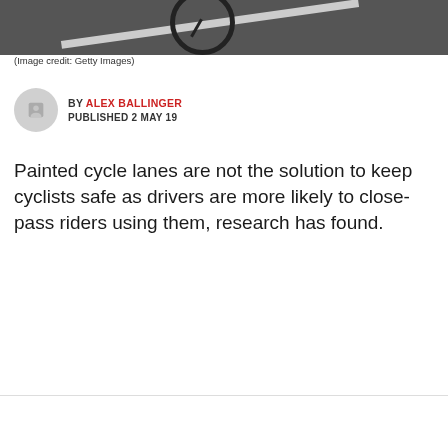[Figure (photo): Black and white photo of a road with a white painted line and a bicycle wheel visible at the top]
(Image credit: Getty Images)
BY ALEX BALLINGER
PUBLISHED 2 MAY 19
Painted cycle lanes are not the solution to keep cyclists safe as drivers are more likely to close-pass riders using them, research has found.